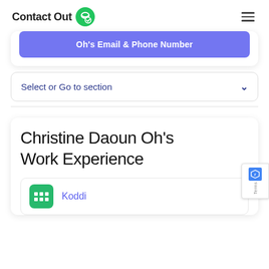ContactOut
Oh's Email & Phone Number
Select or Go to section
Christine Daoun Oh's Work Experience
Koddi